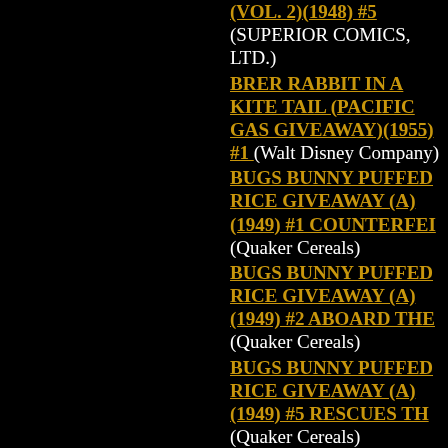(VOL. 2)(1948) #5 (SUPERIOR COMICS, LTD.)
BRER RABBIT IN A KITE TAIL (PACIFIC GAS GIVEAWAY)(1955) #1 (Walt Disney Company)
BUGS BUNNY PUFFED RICE GIVEAWAY (A)(1949) #1 COUNTERFEI (Quaker Cereals)
BUGS BUNNY PUFFED RICE GIVEAWAY (A)(1949) #2 ABOARD THE (Quaker Cereals)
BUGS BUNNY PUFFED RICE GIVEAWAY (A)(1949) #5 RESCUES TH (Quaker Cereals)
BUGS BUNNY PUFFED RICE